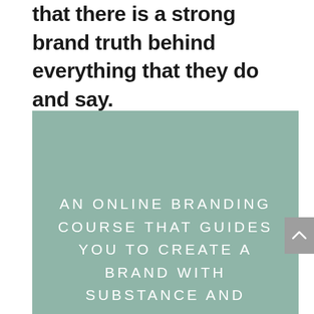that there is a strong brand truth behind everything that they do and say.
[Figure (illustration): Sage green rectangular background with white spaced uppercase text reading: AN ONLINE BRANDING COURSE THAT GUIDES YOU TO CREATE A BRAND WITH SUBSTANCE AND (cut off). A grey scroll-to-top button with an upward chevron is overlaid at the right edge.]